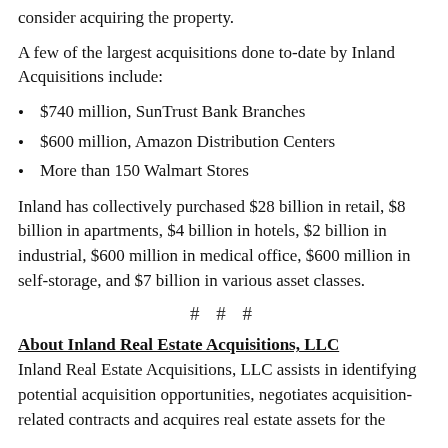consider acquiring the property.
A few of the largest acquisitions done to-date by Inland Acquisitions include:
$740 million, SunTrust Bank Branches
$600 million, Amazon Distribution Centers
More than 150 Walmart Stores
Inland has collectively purchased $28 billion in retail, $8 billion in apartments, $4 billion in hotels, $2 billion in industrial, $600 million in medical office, $600 million in self-storage, and $7 billion in various asset classes.
# # #
About Inland Real Estate Acquisitions, LLC
Inland Real Estate Acquisitions, LLC assists in identifying potential acquisition opportunities, negotiates acquisition-related contracts and acquires real estate assets for the